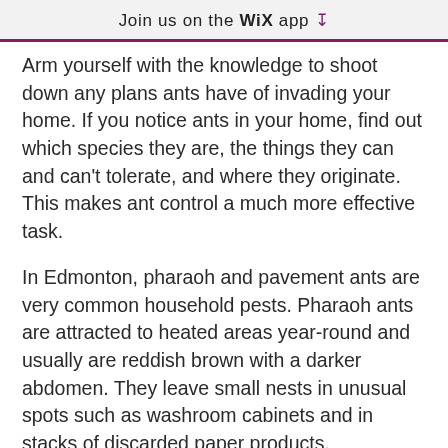Join us on the WiX app ↓
Arm yourself with the knowledge to shoot down any plans ants have of invading your home. If you notice ants in your home, find out which species they are, the things they can and can't tolerate, and where they originate. This makes ant control a much more effective task.
In Edmonton, pharaoh and pavement ants are very common household pests. Pharaoh ants are attracted to heated areas year-round and usually are reddish brown with a darker abdomen. They leave small nests in unusual spots such as washroom cabinets and in stacks of discarded paper products.